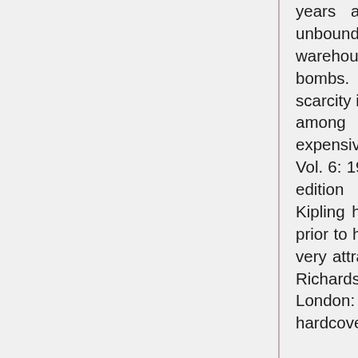years and a large number of the unbound sheets lying in a London warehouse was destroyed by German bombs. One result of this exaggerated scarcity is that the Sussex Edition is now among the most prized and most expensive of all modern editions" ibid. Vol. 6: 1931-36 2004 p. 231. Though the edition was published posthumously Kipling had signed the limitation sheets prior to his death on 18 January 1936. A very attractive set of this superb edition. Richards D23; Stewart pp. 577-80. London: Macmillan and Company, hardcover